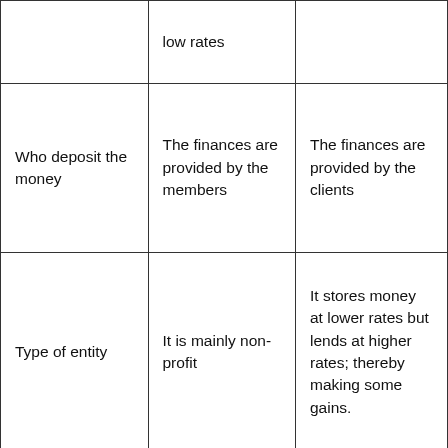|  | low rates |  |
| Who deposit the money | The finances are provided by the members | The finances are provided by the clients |
| Type of entity | It is mainly non-profit | It stores money at lower rates but lends at higher rates; thereby making some gains. |
|  |  |  |